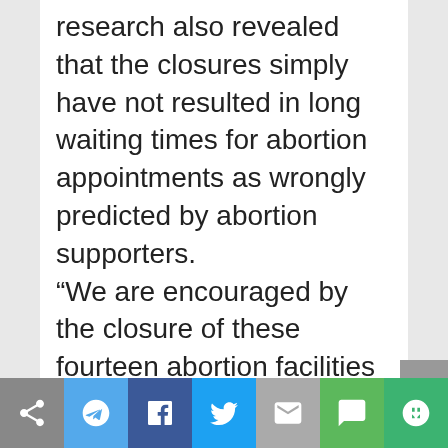research also revealed that the closures simply have not resulted in long waiting times for abortion appointments as wrongly predicted by abortion supporters. “We are encouraged by the closure of these fourteen abortion facilities that were operating under substandard conditions that endangered the lives of women,” said Troy Newman, President of Operation Rescue, which has worked to expose abortion